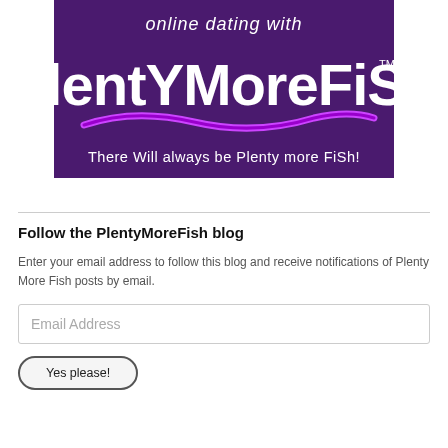[Figure (logo): PlentyMoreFish online dating logo banner. Dark purple background with italic text 'online dating with' at top, large bold white stylized text 'PlentYMoreFiSh' with TM mark, a purple wave/swoosh graphic, and text 'There Will always be Plenty more FiSh!' at the bottom.]
Follow the PlentyMoreFish blog
Enter your email address to follow this blog and receive notifications of Plenty More Fish posts by email.
Email Address
Yes please!